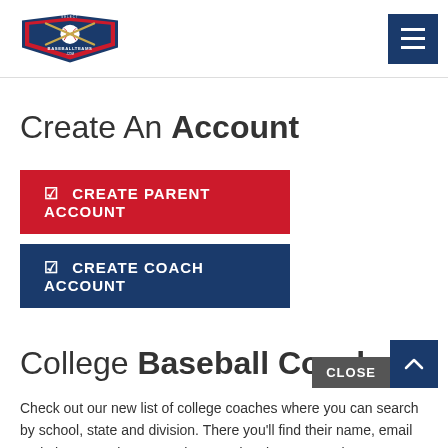SelectBaseballTeams.com logo and navigation
Create An Account
CREATE PARENT ACCOUNT
CREATE COACH ACCOUNT
College Baseball Coaches Search
Check out our new list of college coaches where you can search by school, state and division. There you'll find their name, email and phone number to reach out and make contact about recruiting your athlete.